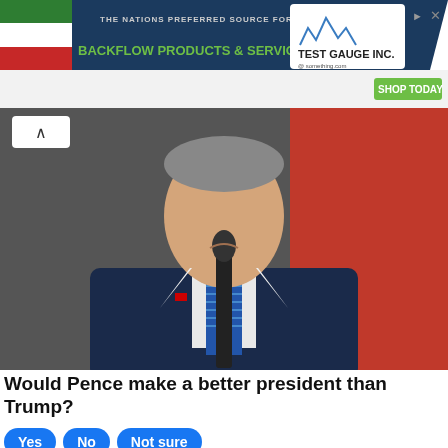[Figure (screenshot): Advertisement banner for Test Gauge Inc. showing backflow products and services with a green Shop Today button]
[Figure (photo): A man in a dark navy suit and striped tie standing at a microphone, with a red background behind him, appearing to be Mike Pence]
Would Pence make a better president than Trump?
Yes  No  Not sure
35,673 Votes
Sponsored Ad
Not only is the former statement arguably fals